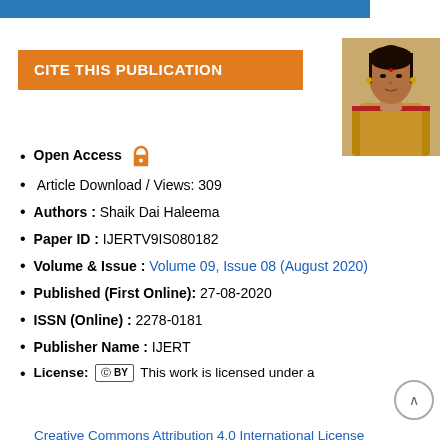[Figure (photo): Orange/yellow banner top bar]
CITE THIS PUBLICATION
[Figure (photo): Photo of a woman in a golden/mustard saree with earrings]
Open Access
Article Download / Views: 309
Authors : Shaik Dai Haleema
Paper ID : IJERTV9IS080182
Volume & Issue : Volume 09, Issue 08 (August 2020)
Published (First Online): 27-08-2020
ISSN (Online) : 2278-0181
Publisher Name : IJERT
License: [cc] BY  This work is licensed under a Creative Commons Attribution 4.0 International License